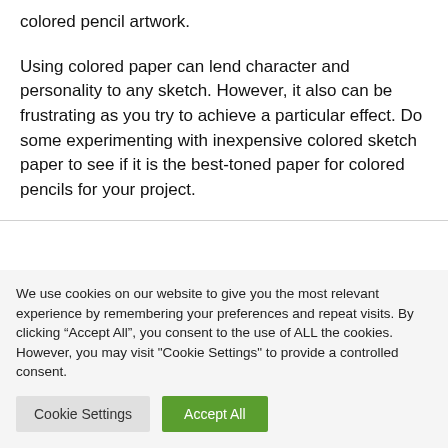colored pencil artwork.
Using colored paper can lend character and personality to any sketch. However, it also can be frustrating as you try to achieve a particular effect. Do some experimenting with inexpensive colored sketch paper to see if it is the best-toned paper for colored pencils for your project.
We use cookies on our website to give you the most relevant experience by remembering your preferences and repeat visits. By clicking “Accept All”, you consent to the use of ALL the cookies. However, you may visit "Cookie Settings" to provide a controlled consent.